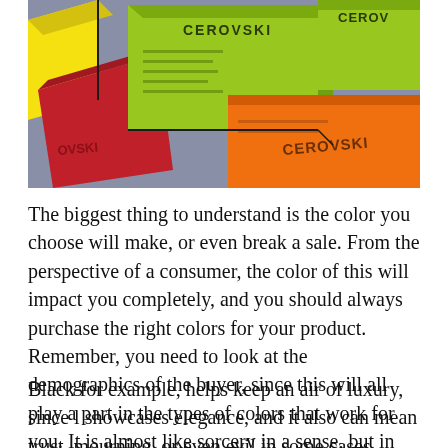[Figure (photo): Photo of colorful product boxes (CEROVSKI branded) in lime green, orange, red, and yellow arranged on a gray surface, viewed from above at an angle.]
The biggest thing to understand is the color you choose will make, or even break a sale. From the perspective of a consumer, the color of this will impact you completely, and you should always purchase the right colors for your product. Remember, you need to look at the demographics of the buyer, since this will all play a part in the types of colors that work for you. It is almost like sorcery in a sense, but in reality, it's more like psychology.
Black for example, helps keep an air of luxury, since l showcases elegance, and it also can mean trust, mourning, or even evil in some cases.  This can also mean that...